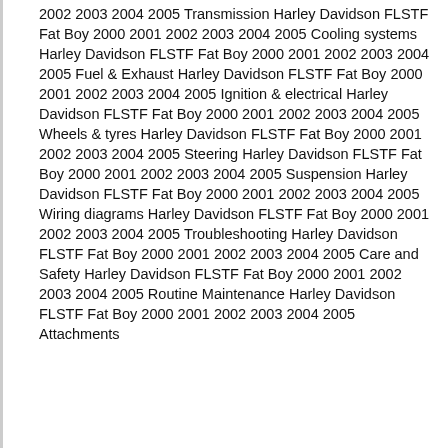2002 2003 2004 2005 Transmission Harley Davidson FLSTF Fat Boy 2000 2001 2002 2003 2004 2005 Cooling systems Harley Davidson FLSTF Fat Boy 2000 2001 2002 2003 2004 2005 Fuel & Exhaust Harley Davidson FLSTF Fat Boy 2000 2001 2002 2003 2004 2005 Ignition & electrical Harley Davidson FLSTF Fat Boy 2000 2001 2002 2003 2004 2005 Wheels & tyres Harley Davidson FLSTF Fat Boy 2000 2001 2002 2003 2004 2005 Steering Harley Davidson FLSTF Fat Boy 2000 2001 2002 2003 2004 2005 Suspension Harley Davidson FLSTF Fat Boy 2000 2001 2002 2003 2004 2005 Wiring diagrams Harley Davidson FLSTF Fat Boy 2000 2001 2002 2003 2004 2005 Troubleshooting Harley Davidson FLSTF Fat Boy 2000 2001 2002 2003 2004 2005 Care and Safety Harley Davidson FLSTF Fat Boy 2000 2001 2002 2003 2004 2005 Routine Maintenance Harley Davidson FLSTF Fat Boy 2000 2001 2002 2003 2004 2005 Attachments